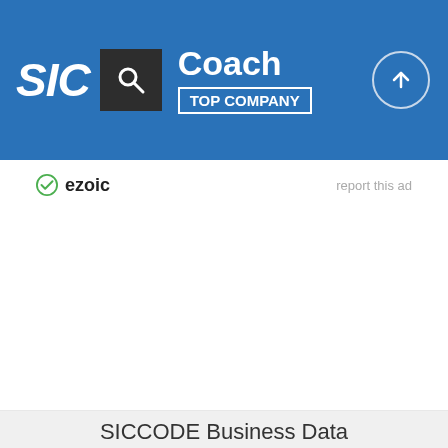SIC — Coach TOP COMPANY
[Figure (logo): Ezoic advertisement logo with 'report this ad' link]
SICCODE Business Data
Powering the World's Top Companies